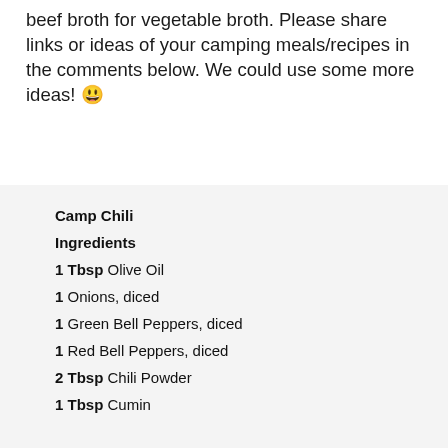beef broth for vegetable broth. Please share links or ideas of your camping meals/recipes in the comments below. We could use some more ideas! 🙂
Camp Chili
Ingredients
1 Tbsp Olive Oil
1 Onions, diced
1 Green Bell Peppers, diced
1 Red Bell Peppers, diced
2 Tbsp Chili Powder
1 Tbsp Cumin